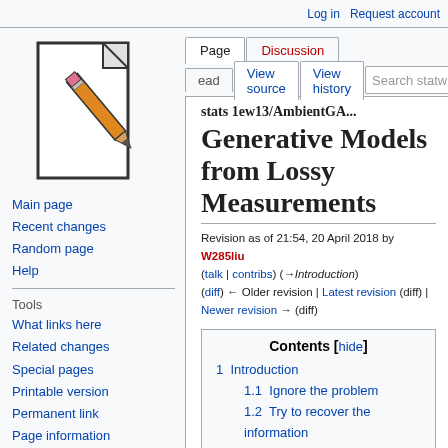Log in  Request account
[Figure (logo): Wikipedia-style pencil and paper logo]
Main page
Recent changes
Random page
Help
Tools
What links here
Related changes
Special pages
Printable version
Permanent link
Page information
Page | Discussion | View source | View history
stats 1ew13/AmbientGA... Generative Models from Lossy Measurements
Revision as of 21:54, 20 April 2018 by W285liu (talk | contribs) (→Introduction)
(diff) ← Older revision | Latest revision (diff) | Newer revision → (diff)
| Contents [hide] |
| 1  Introduction |
| 1.1  Ignore the problem |
| 1.2  Try to recover the information lost |